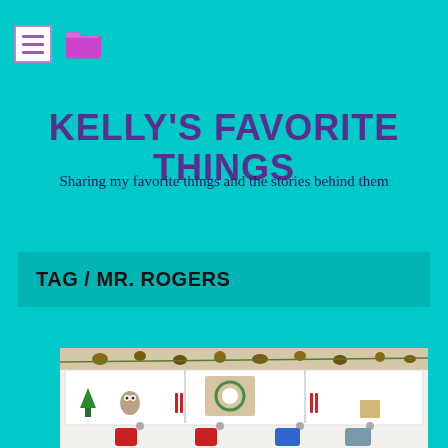[menu icon] [folder icon]
KELLY'S FAVORITE THINGS
Sharing my favorite things and the stories behind them
TAG / MR. ROGERS
[Figure (photo): A white wall-mounted shelf decorated with Christmas items including pine cones, garland, a wreath sign, an owl figurine, small trees, and Christmas stockings hanging below on hooks. Four stockings visible: red personalized stockings and blue/grey holiday stockings.]